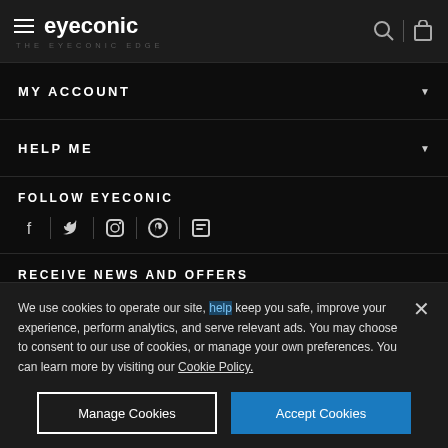eyeconic — THE EYECONIC EDGE
MY ACCOUNT
HELP ME
FOLLOW EYECONIC
[Figure (other): Social media icons: Facebook, Twitter, Instagram, Pinterest, and one more icon separated by vertical dividers]
RECEIVE NEWS AND OFFERS
EMAIL ADDRESS
We use cookies to operate our site, help keep you safe, improve your experience, perform analytics, and serve relevant ads. You may choose to consent to our use of cookies, or manage your own preferences. You can learn more by visiting our Cookie Policy.
Manage Cookies
Accept Cookies